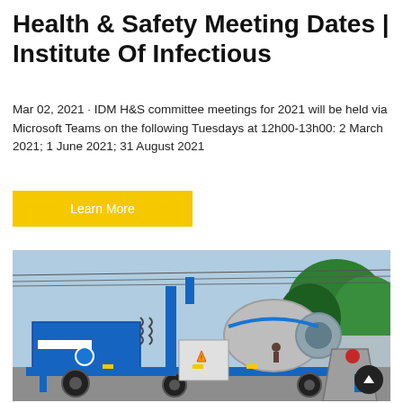Health & Safety Meeting Dates | Institute Of Infectious
Mar 02, 2021 · IDM H&S committee meetings for 2021 will be held via Microsoft Teams on the following Tuesdays at 12h00-13h00: 2 March 2021; 1 June 2021; 31 August 2021
Learn More
[Figure (photo): Photograph of a large blue industrial concrete mixer or pump machine on a trailer, outdoors with trees and a wall in the background.]